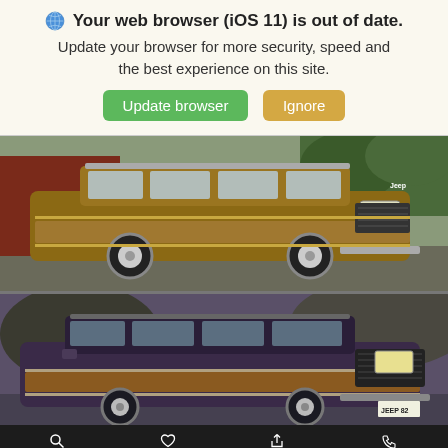Your web browser (iOS 11) is out of date.
Update your browser for more security, speed and the best experience on this site.
Update browser   Ignore
[Figure (photo): Brown/tan classic Jeep Grand Wagoneer SUV with wood panel sides, parked on a driveway with a red barn in the background]
[Figure (photo): Dark purple/navy classic Jeep Grand Wagoneer with wood panel sides, front 3/4 view, license plate reads JEEP 82]
Search   Saved   Share   Contact